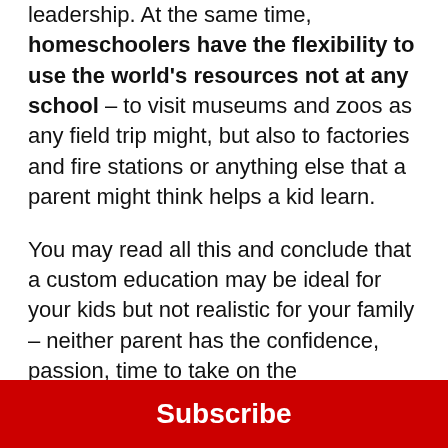leadership. At the same time, homeschoolers have the flexibility to use the world's resources not at any school – to visit museums and zoos as any field trip might, but also to factories and fire stations or anything else that a parent might think helps a kid learn.
You may read all this and conclude that a custom education may be ideal for your kids but not realistic for your family – neither parent has the confidence, passion, time to take on the responsibility. Even if one did, parenting and homeschooling may soon become a 24-7 job with no breaks – and that can be a recipe for a lot of stress. Interestingly, when parents are
[Figure (other): Red Subscribe button banner at the bottom of the page]